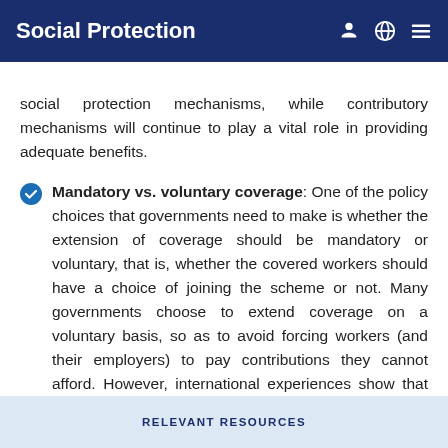Social Protection
social protection mechanisms, while contributory mechanisms will continue to play a vital role in providing adequate benefits.
Mandatory vs. voluntary coverage: One of the policy choices that governments need to make is whether the extension of coverage should be mandatory or voluntary, that is, whether the covered workers should have a choice of joining the scheme or not. Many governments choose to extend coverage on a voluntary basis, so as to avoid forcing workers (and their employers) to pay contributions they cannot afford. However, international experiences show that voluntary schemes suffer from adverse selection and small risk pools.
RELEVANT RESOURCES